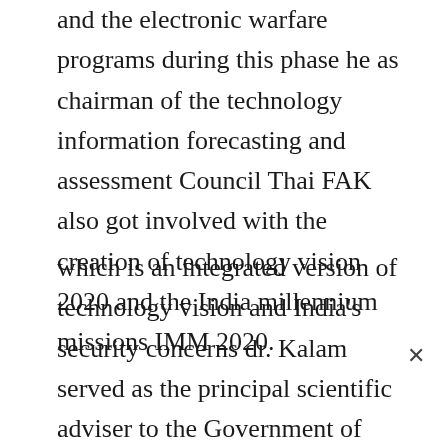and the electronic warfare programs during this phase he as chairman of the technology information forecasting and assessment Council Thai FAK also got involved with the creation of technology vision 2020 and the India millennium missions IMM 2020.
which is an integrated version of technology vision and India's security concerns dr. Kalam served as the principal scientific adviser to the Government of India in the rank of cabinet minister from November 1999 to November 2001 and was